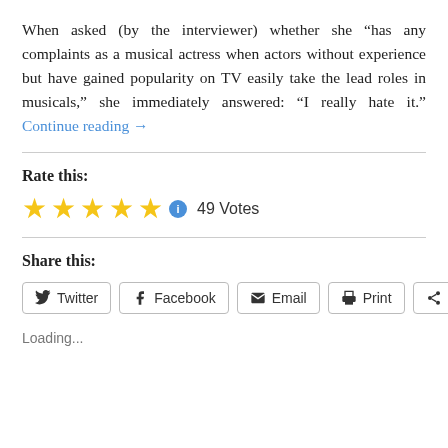When asked (by the interviewer) whether she “has any complaints as a musical actress when actors without experience but have gained popularity on TV easily take the lead roles in musicals,” she immediately answered: “I really hate it.” Continue reading →
Rate this:
[Figure (other): Five gold stars rating widget with info icon, showing 49 Votes]
Share this:
Twitter | Facebook | Email | Print | More
Loading...